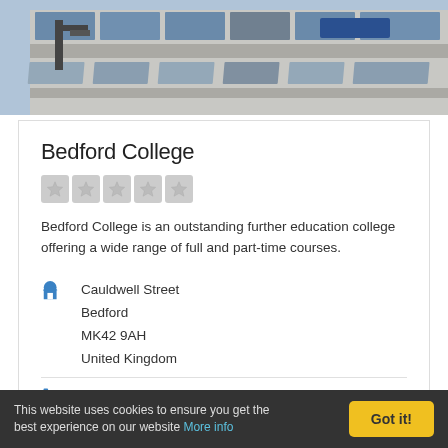[Figure (photo): Exterior photo of a modern college building with glass windows and concrete facade, with metallic sculptures visible in the foreground.]
Bedford College
[Figure (other): Five grey star rating icons in a row (empty/unrated stars).]
Bedford College is an outstanding further education college offering a wide range of full and part-time courses.
Cauldwell Street
Bedford
MK42 9AH
United Kingdom
+44 12 3429 1000
bedford.ac.uk
This website uses cookies to ensure you get the best experience on our website More info